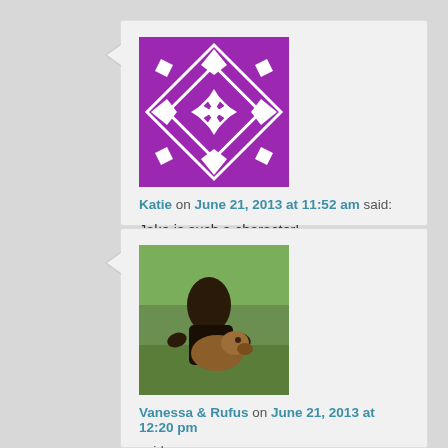[Figure (illustration): Purple quilt-pattern avatar icon for user Katie]
Katie on June 21, 2013 at 11:52 am said:
Jake is such a character!
★ Like
Reply ↓
[Figure (photo): Photo of a person hugging a dog outdoors, for user Vanessa & Rufus]
Vanessa & Rufus on June 21, 2013 at 12:20 pm said:
Haha, we have a Frenchie/Boston terrier mix at work that sits exactly like this! When you crate her